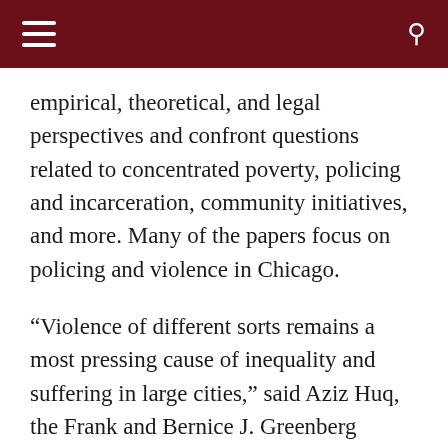navigation bar with hamburger menu and search icon
empirical, theoretical, and legal perspectives and confront questions related to concentrated poverty, policing and incarceration, community initiatives, and more. Many of the papers focus on policing and violence in Chicago.
“Violence of different sorts remains a most pressing cause of inequality and suffering in large cities,” said Aziz Huq, the Frank and Bernice J. Greenberg Professor of Law, who is the faculty co-advisor with Professor John